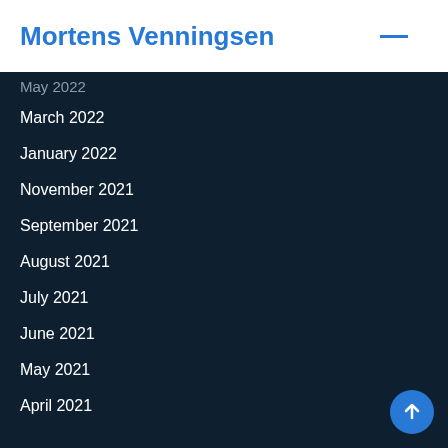Mortens Venningsen
May 2022
March 2022
January 2022
November 2021
September 2021
August 2021
July 2021
June 2021
May 2021
April 2021